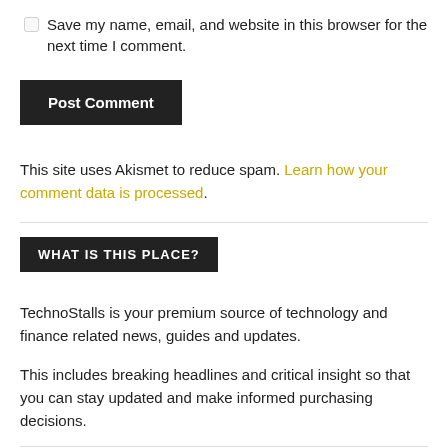Save my name, email, and website in this browser for the next time I comment.
Post Comment
This site uses Akismet to reduce spam. Learn how your comment data is processed.
WHAT IS THIS PLACE?
TechnoStalls is your premium source of technology and finance related news, guides and updates.
This includes breaking headlines and critical insight so that you can stay updated and make informed purchasing decisions.
Recent Updates
Nothing Phone (1) CEO Offers